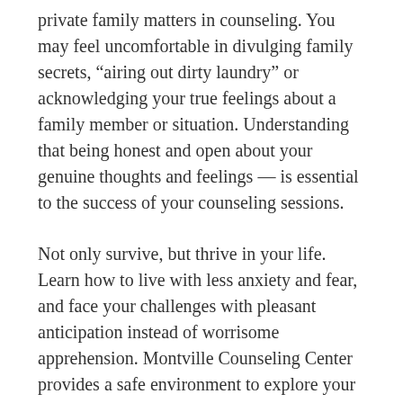private family matters in counseling. You may feel uncomfortable in divulging family secrets, “airing out dirty laundry” or acknowledging your true feelings about a family member or situation. Understanding that being honest and open about your genuine thoughts and feelings — is essential to the success of your counseling sessions.
Not only survive, but thrive in your life. Learn how to live with less anxiety and fear, and face your challenges with pleasant anticipation instead of worrisome apprehension. Montville Counseling Center provides a safe environment to explore your negative emotions and painful